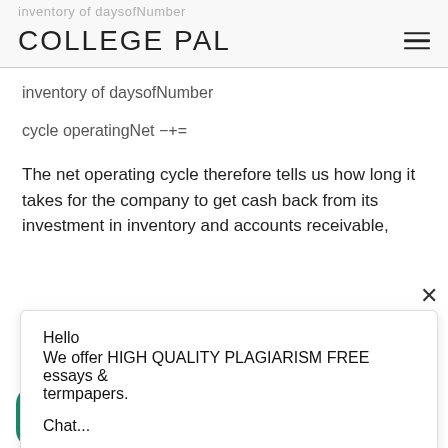COLLEGE PAL
inventory of daysofNumber
cycle operatingNet −+=
The net operating cycle therefore tells us how long it takes for the company to get cash back from its investment in inventory and accounts receivable,
Hello
We offer HIGH QUALITY PLAGIARISM FREE essays & termpapers.

Chat...
eivables